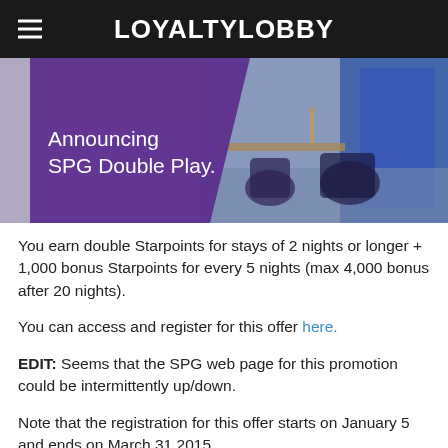LOYALTYLOBBY
[Figure (photo): SPG Double Play promotional banner image showing a hotel lobby interior with text 'Announcing SPG Double Play.' overlaid on a purple background on the left side.]
You earn double Starpoints for stays of 2 nights or longer + 1,000 bonus Starpoints for every 5 nights (max 4,000 bonus after 20 nights).
You can access and register for this offer here.
EDIT: Seems that the SPG web page for this promotion could be intermittently up/down.
Note that the registration for this offer starts on January 5 and ends on March 31,2015